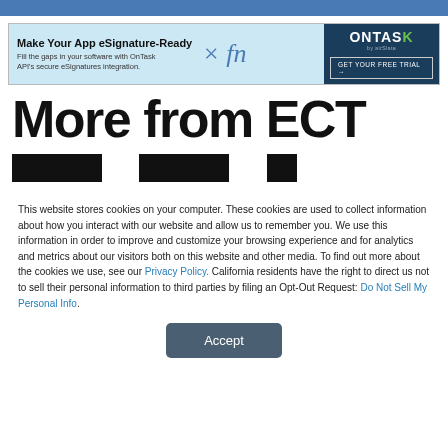[Figure (other): Advertisement banner for OnTask eSignature integration with 'Make Your App eSignature-Ready' headline, script logo, and 'GET YOUR FREE TRIAL' button on dark background]
More from ECT
This website stores cookies on your computer. These cookies are used to collect information about how you interact with our website and allow us to remember you. We use this information in order to improve and customize your browsing experience and for analytics and metrics about our visitors both on this website and other media. To find out more about the cookies we use, see our Privacy Policy. California residents have the right to direct us not to sell their personal information to third parties by filing an Opt-Out Request: Do Not Sell My Personal Info.